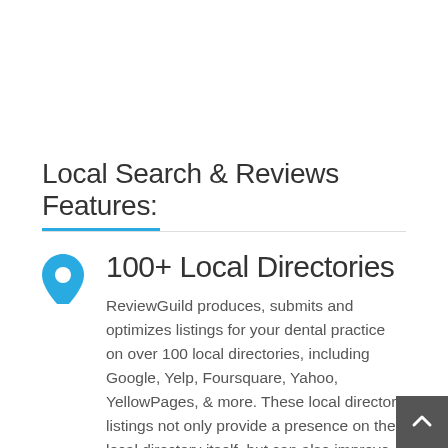Local Search & Reviews Features:
100+ Local Directories
ReviewGuild produces, submits and optimizes listings for your dental practice on over 100 local directories, including Google, Yelp, Foursquare, Yahoo, YellowPages, & more. These local directory listings not only provide a presence on the local directory itself, but can also improve your dental practice's Search Engine Optimization (SEO) and increase your organic search engine rank for your local directory listings, social media